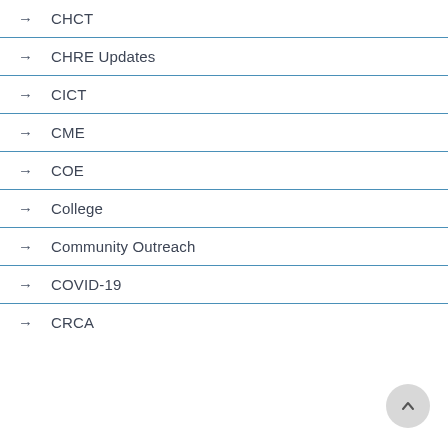CHCT
CHRE Updates
CICT
CME
COE
College
Community Outreach
COVID-19
CRCA